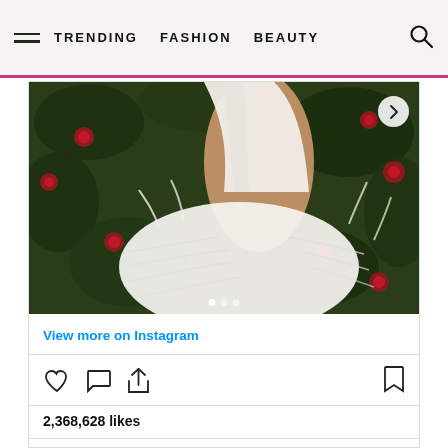TRENDING  FASHION  BEAUTY
[Figure (photo): Side view of a person wearing a white halter dress with large white feather detail at the waist, photographed against a dark green background with red roses]
View more on Instagram
2,368,628 likes
Add a comment...